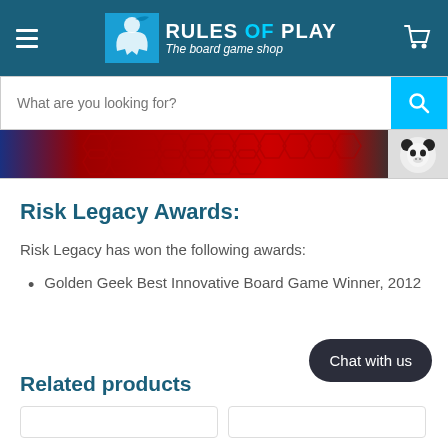[Figure (logo): Rules of Play - The board game shop logo with teal background, hamburger menu icon on left, shopping cart icon on right]
[Figure (screenshot): Search bar with placeholder text 'What are you looking for?' and cyan search button]
[Figure (photo): Banner image strip showing red hexagonal board game tiles and a panda character on the right]
Risk Legacy Awards:
Risk Legacy has won the following awards:
Golden Geek Best Innovative Board Game Winner, 2012
Related products